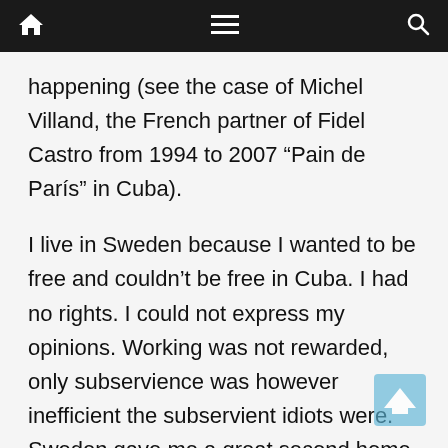Navigation bar with home, menu, and search icons
happening (see the case of Michel Villand, the French partner of Fidel Castro from 1994 to 2007 “Pain de París” in Cuba).
I live in Sweden because I wanted to be free and couldn’t be free in Cuba. I had no rights. I could not express my opinions. Working was not rewarded, only subservience was however inefficient the subservient idiots were. Sweden gave me a great second home and a passport that I can freely travel with.
As far as the embargo goes: Sweden doesn’t trade with Cuba. It is far away from Cuba. The